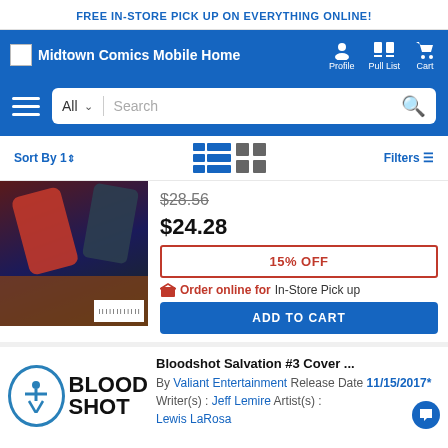FREE IN-STORE PICK UP ON EVERYTHING ONLINE!
Midtown Comics Mobile Home
Profile  Pull List  Cart
[Figure (screenshot): Search bar with All dropdown and search input]
Sort By  Filters
[Figure (photo): Comic book cover with red and dark superhero characters]
$28.56 (strikethrough)  $24.28  15% OFF  Order online for In-Store Pick up  ADD TO CART
Bloodshot Salvation #3 Cover ...
By Valiant Entertainment Release Date 11/15/2017*
Writer(s) : Jeff Lemire Artist(s) :
Lewis LaRosa